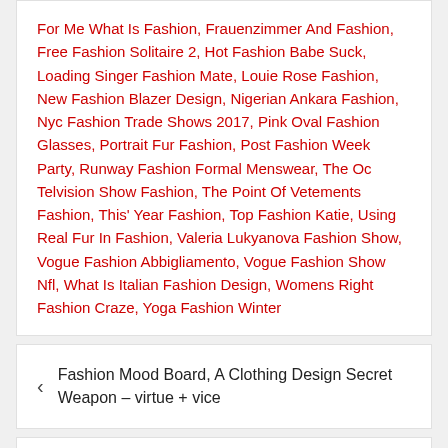For Me What Is Fashion, Frauenzimmer And Fashion, Free Fashion Solitaire 2, Hot Fashion Babe Suck, Loading Singer Fashion Mate, Louie Rose Fashion, New Fashion Blazer Design, Nigerian Ankara Fashion, Nyc Fashion Trade Shows 2017, Pink Oval Fashion Glasses, Portrait Fur Fashion, Post Fashion Week Party, Runway Fashion Formal Menswear, The Oc Telvision Show Fashion, The Point Of Vetements Fashion, This' Year Fashion, Top Fashion Katie, Using Real Fur In Fashion, Valeria Lukyanova Fashion Show, Vogue Fashion Abbigliamento, Vogue Fashion Show Nfl, What Is Italian Fashion Design, Womens Right Fashion Craze, Yoga Fashion Winter
Fashion Mood Board, A Clothing Design Secret Weapon – virtue + vice
Berita Suggestions Vogue, Model Selebriti & Wanita